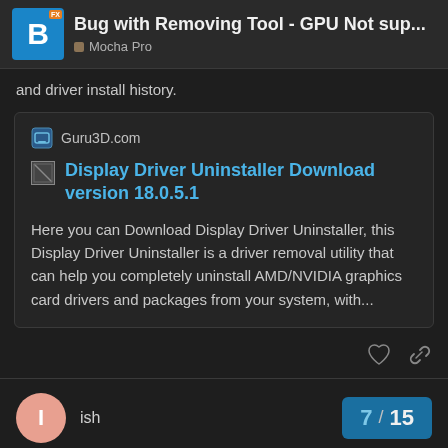Bug with Removing Tool - GPU Not sup... | Mocha Pro
and driver install history.
[Figure (screenshot): Link card preview for Guru3D.com showing 'Display Driver Uninstaller Download version 18.0.5.1' with description: Here you can Download Display Driver Uninstaller, this Display Driver Uninstaller is a driver removal utility that can help you completely uninstall AMD/NVIDIA graphics card drivers and packages from your system, with...]
ish
7 / 15